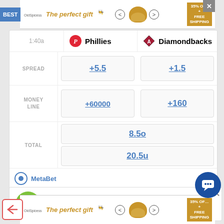[Figure (infographic): Top advertisement banner: 'The perfect gift' with food bowl image and '35% OFF + FREE SHIPPING' offer]
|  | Phillies | Diamondbacks |
| --- | --- | --- |
| SPREAD | +5.5 | +1.5 |
| MONEY LINE | +60000 | +160 |
| TOTAL | 8.5o | 20.5u |
MetaBet
Shane's Pick
[Figure (infographic): Bottom advertisement banner: 'The perfect gift' with food bowl image and '35% OFF + FREE SHIPPING' offer]